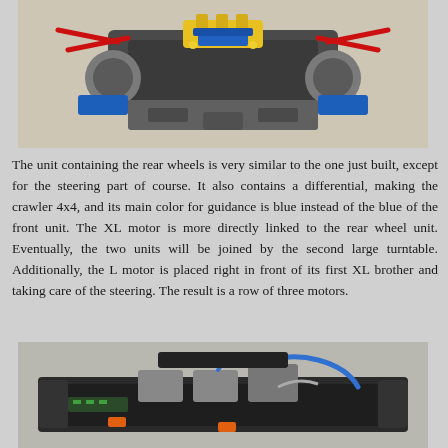[Figure (photo): LEGO Technic rear wheel unit assembly with differential, blue and grey pieces, yellow connector parts, and red axles, viewed from front angle on beige background.]
The unit containing the rear wheels is very similar to the one just built, except for the steering part of course. It also contains a differential, making the crawler 4x4, and its main color for guidance is blue instead of the blue of the front unit. The XL motor is more directly linked to the rear wheel unit. Eventually, the two units will be joined by the second large turntable. Additionally, the L motor is placed right in front of its first XL brother and taking care of the steering. The result is a row of three motors.
[Figure (photo): LEGO Technic crawler chassis assembly showing the full frame with motors, blue and orange connectors, black tracks, and wiring, viewed from above at an angle on light background.]